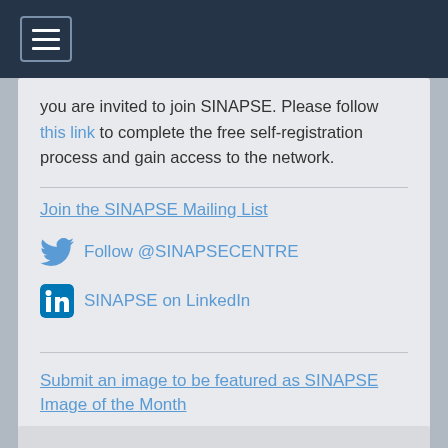[Figure (screenshot): Navigation bar with hamburger menu icon on dark blue background]
you are invited to join SINAPSE. Please follow this link to complete the free self-registration process and gain access to the network.
Join the SINAPSE Mailing List
Follow @SINAPSECENTRE
SINAPSE on LinkedIn
Submit an image to be featured as SINAPSE Image of the Month